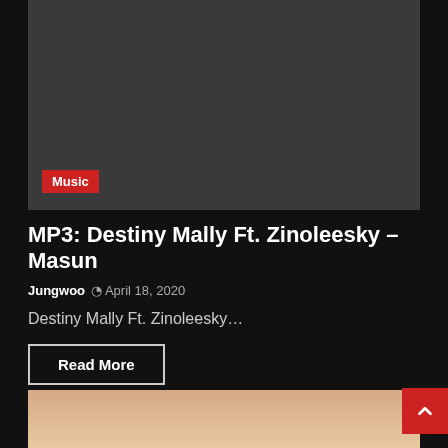[Figure (photo): Dark gray placeholder image representing an article thumbnail]
Music
MP3: Destiny Mally Ft. Zinoleesky – Masun
Jungwoo  April 18, 2020
Destiny Mally Ft. Zinoleesky…
Read More
[Figure (photo): Warm gradient background photo, partially visible at bottom of page]